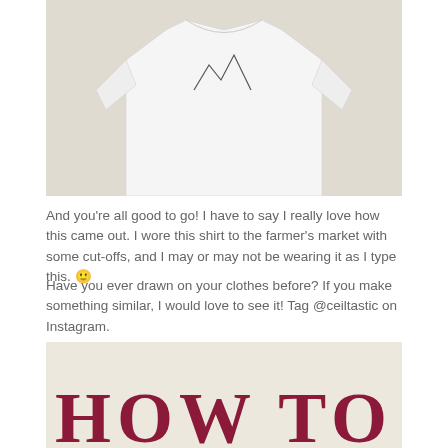[Figure (photo): A white t-shirt with a simple line drawing on it, laid flat on a white fabric/sheet background. The shirt is cropped in view showing mainly the torso area.]
And you're all good to go! I have to say I really love how this came out. I wore this shirt to the farmer's market with some cut-offs, and I may or may not be wearing it as I type this. 🙂
Have you ever drawn on your clothes before? If you make something similar, I would love to see it! Tag @ceiltastic on Instagram.
[Figure (photo): A beige/cream background with large bold dark red/maroon serif text reading 'HOW TO' at the bottom of the image, partially cut off.]